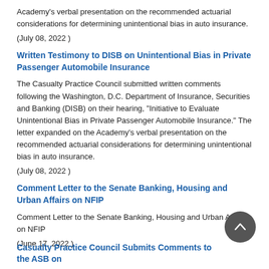Academy's verbal presentation on the recommended actuarial considerations for determining unintentional bias in auto insurance.
(July 08, 2022 )
Written Testimony to DISB on Unintentional Bias in Private Passenger Automobile Insurance
The Casualty Practice Council submitted written comments following the Washington, D.C. Department of Insurance, Securities and Banking (DISB) on their hearing, "Initiative to Evaluate Unintentional Bias in Private Passenger Automobile Insurance." The letter expanded on the Academy's verbal presentation on the recommended actuarial considerations for determining unintentional bias in auto insurance.
(July 08, 2022 )
Comment Letter to the Senate Banking, Housing and Urban Affairs on NFIP
Comment Letter to the Senate Banking, Housing and Urban Affairs on NFIP
(June 17, 2022 )
Casualty Practice Council Submits Comments to the ASB on